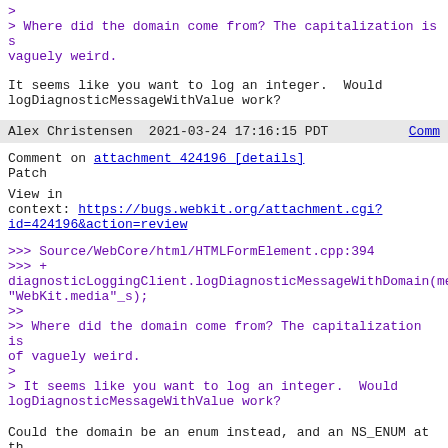>
> Where did the domain come from? The capitalization is s vaguely weird.
It seems like you want to log an integer.  Would logDiagnosticMessageWithValue work?
Alex Christensen    2021-03-24 17:16:15 PDT    Comm
Comment on attachment 424196 [details]
Patch
View in context: https://bugs.webkit.org/attachment.cgi?id=424196&action=review
>>> Source/WebCore/html/HTMLFormElement.cpp:394
>>> +
diagnosticLoggingClient.logDiagnosticMessageWithDomain(me "WebKit.media"_s);
>>
>> Where did the domain come from? The capitalization is of vaguely weird.
>
> It seems like you want to log an integer.  Would logDiagnosticMessageWithValue work?
Could the domain be an enum instead, and an NS_ENUM at th